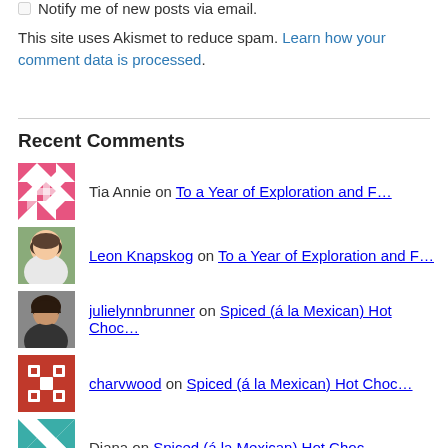Notify me of new posts via email.
This site uses Akismet to reduce spam. Learn how your comment data is processed.
Recent Comments
Tia Annie on To a Year of Exploration and F…
Leon Knapskog on To a Year of Exploration and F…
julielynnbrunner on Spiced (á la Mexican) Hot Choc…
charvwood on Spiced (á la Mexican) Hot Choc…
Diana on Spiced (á la Mexican) Hot Choc…